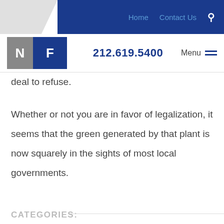Home  Contact Us  🔍
[Figure (logo): NF law firm logo with N in grey box and F in blue box]
212.619.5400  Menu
deal to refuse.
Whether or not you are in favor of legalization, it seems that the green generated by that plant is now squarely in the sights of most local governments.
CATEGORIES: